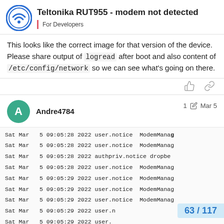Teltonika RUT955 - modem not detected | For Developers
This looks like the correct image for that version of the device. Please share output of logread after boot and also content of /etc/config/network so we can see what's going on there.
Andre4784  1  Mar 5
Sat Mar  5 09:05:28 2022 user.notice ModemManag
Sat Mar  5 09:05:28 2022 user.notice ModemManag
Sat Mar  5 09:05:28 2022 authpriv.notice dropbe
Sat Mar  5 09:05:28 2022 user.notice ModemManag
Sat Mar  5 09:05:29 2022 user.notice ModemManag
Sat Mar  5 09:05:29 2022 user.notice ModemManag
Sat Mar  5 09:05:29 2022 user.notice ModemManag
Sat Mar  5 09:05:29 2022 user.n
Sat Mar  5 09:05:29 2022 user.
63 / 117